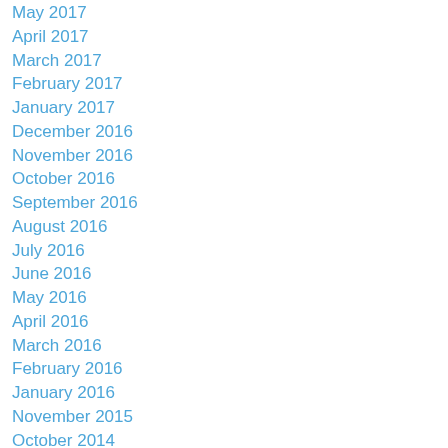May 2017
April 2017
March 2017
February 2017
January 2017
December 2016
November 2016
October 2016
September 2016
August 2016
July 2016
June 2016
May 2016
April 2016
March 2016
February 2016
January 2016
November 2015
October 2014
April 2014